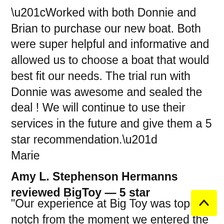“Worked with both Donnie and Brian to purchase our new boat. Both were super helpful and informative and allowed us to choose a boat that would best fit our needs. The trial run with Donnie was awesome and sealed the deal ! We will continue to use their services in the future and give them a 5 star recommendation.”
Marie
Amy L. Stephenson Hermanns reviewed BigToy — 5 star
“Our experience at Big Toy was top notch from the moment we entered the showroom, to the moment we drove away with our new Nautic Star. We never felt pressured or harassed when talking with Brian about the 1810. He was straight up and honest and willing to work with us. Donnie